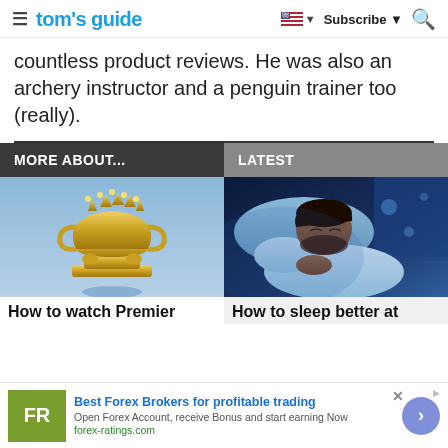tom's guide | Subscribe
countless product reviews. He was also an archery instructor and a penguin trainer too (really).
MORE ABOUT...
LATEST
[Figure (photo): Gold Premier League trophy on blue background]
[Figure (photo): Man sleeping in blue-lit bedroom]
How to watch Premier
How to sleep better at
Best Forex Brokers for profitable trading
Open Forex Account, receive Bonus and start earning Now
forex-ratings.com